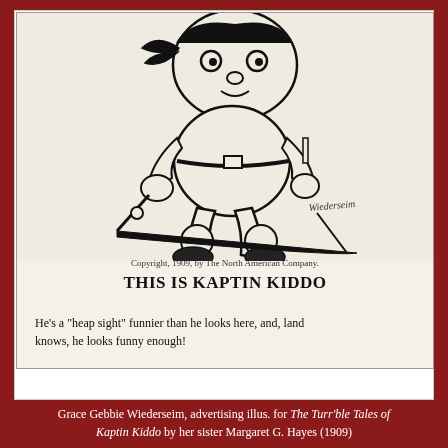[Figure (illustration): Black-and-white newspaper illustration of Kaptin Kiddo, a chubby cartoon character wearing a sailor/pirate hat, a belt, and big round shoes, holding what appears to be a sword or stick. The character has large round eyes and an exaggerated body. Signed 'Wiederseim' at lower right. Below the illustration text reads: 'Copyright, 1909, by The North American Company. THIS IS KAPTIN KIDDO. He’s a "heap sight" funnier than he looks here, and, land knows, he looks funny enough!']
Grace Gebbie Wiederseim, advertising illus. for The Turr'ble Tales of Kaptin Kiddo by her sister Margaret G. Hayes (1909)